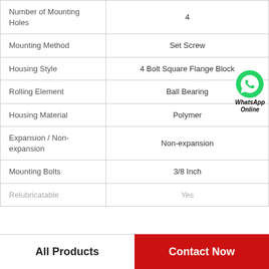| Property | Value |
| --- | --- |
| Number of Mounting Holes | 4 |
| Mounting Method | Set Screw |
| Housing Style | 4 Bolt Square Flange Block |
| Rolling Element | Ball Bearing |
| Housing Material | Polymer |
| Expansion / Non-expansion | Non-expansion |
| Mounting Bolts | 3/8 Inch |
| Relubricatable | Yes |
All Products
Contact Now